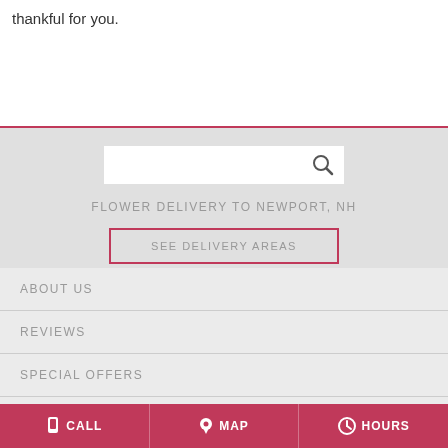thankful for you.
FLOWER DELIVERY TO NEWPORT, NH
SEE DELIVERY AREAS
ABOUT US
REVIEWS
SPECIAL OFFERS
CONTACT US
CALL   MAP   HOURS